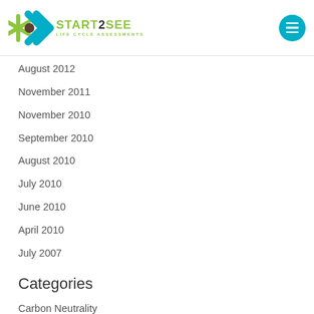START2SEE LIFE CYCLE ASSESSMENTS
August 2012
November 2011
November 2010
September 2010
August 2010
July 2010
June 2010
April 2010
July 2007
Categories
Carbon Neutrality
EPD Verifier
EPDs
Events